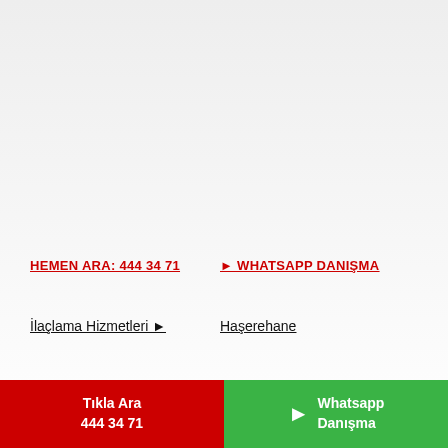HEMEN ARA: 444 34 71
🡢 WHATSAPP DANIŞMA
İlaçlama Hizmetleri 🡢
Haşerehane
Neredeyiz? 🡢
Kurumsal 🡢
Tıkla Ara
444 34 71
Whatsapp Danışma